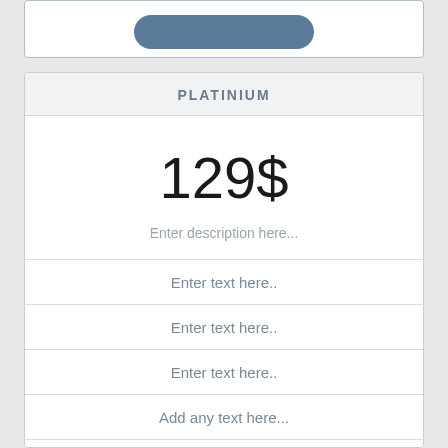[Figure (screenshot): Top portion of a pricing card with a rounded button visible at the top]
PLATINIUM
129$
Enter description here...
Enter text here..
Enter text here..
Enter text here..
Add any text here...
CLICK ME!